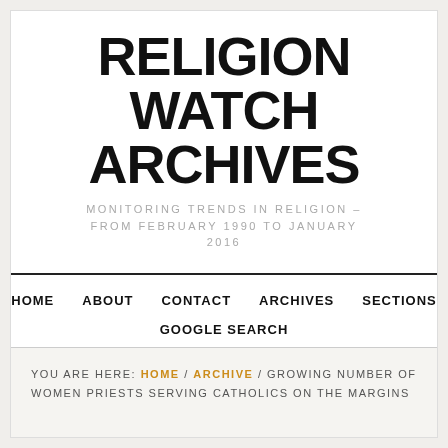RELIGION WATCH ARCHIVES
MONITORING TRENDS IN RELIGION – FROM FEBRUARY 1990 TO JANUARY 2016
HOME / ABOUT / CONTACT / ARCHIVES / SECTIONS / GOOGLE SEARCH
YOU ARE HERE: HOME / ARCHIVE / GROWING NUMBER OF WOMEN PRIESTS SERVING CATHOLICS ON THE MARGINS